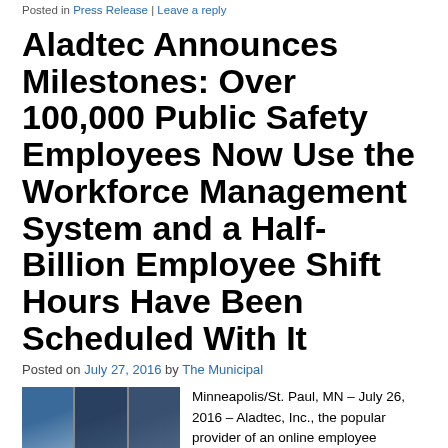Posted in Press Release | Leave a reply
Aladtec Announces Milestones: Over 100,000 Public Safety Employees Now Use the Workforce Management System and a Half-Billion Employee Shift Hours Have Been Scheduled With It
Posted on July 27, 2016 by The Municipal
[Figure (photo): Three-panel photo showing public safety employees including EMS/fire personnel]
Minneapolis/St. Paul, MN – July 26, 2016 – Aladtec, Inc., the popular provider of an online employee scheduling and workforce management system for the Public Safety Sector, announced this week that specific